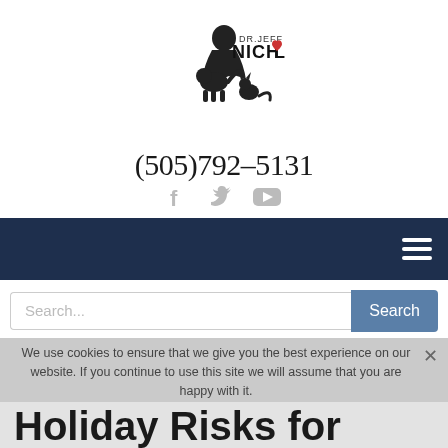[Figure (logo): Dr. Jeff Nichol logo with silhouette of a person holding a dog with a cat sitting beside them, and the text DR.JEFF NICHOL with a heart in the O]
(505)792-5131
[Figure (illustration): Social media icons: Facebook (f), Twitter (bird), YouTube (play button) in gray]
[Figure (other): Dark navy navigation bar with hamburger menu icon on the right]
Search...
We use cookies to ensure that we give you the best experience on our website. If you continue to use this site we will assume that you are happy with it.
Holiday Risks for Pets
Ok   Privacy policy
Prevention is the Best Medicine